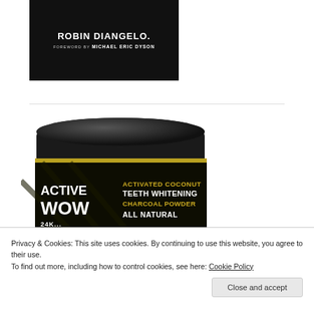[Figure (photo): Book cover snippet showing author name ROBIN DIANGELO with FOREWORD BY MICHAEL ERIC DYSON on a dark background]
[Figure (photo): Product photo of Active Wow Activated Coconut Teeth Whitening Charcoal Powder All Natural jar with black lid]
Privacy & Cookies: This site uses cookies. By continuing to use this website, you agree to their use.
To find out more, including how to control cookies, see here: Cookie Policy
Close and accept